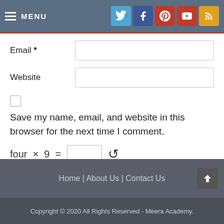MENU
Email *
Website
Save my name, email, and website in this browser for the next time I comment.
four × 9 =
Post Comment
Home | About Us | Contact Us
Copyright © 2020 All Rights Reserved - Meera Academy.